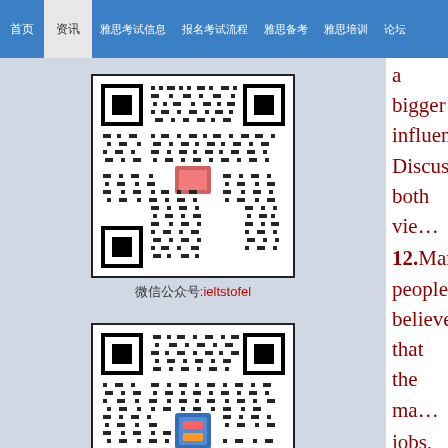首页 | 资讯 | 雅思考试信息 | 报名考试流程 | 雅思备考 | 雅思培训 | 论坛
[Figure (other): QR code with label: 微信公众号:ieltstofel]
[Figure (other): QR code with label: 雅思托福群:504918228]
jobs, while some people believe that abilities. What is your opinion? Som To what extent do you agree governm background? In some countries, pare school, and have less free time. Do y society? 13.Nowadays, many people are using on individuals and society. With the to write letters. The number of people disappear soon. Do you agree or disa countries, TV programs are transmit TV transmission is a positive develop 14.In some countries, the proportion younger people. Will this be a positiv give opportunities to new generation